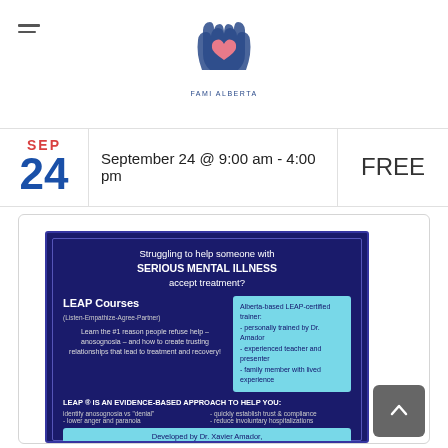FAMI Alberta — site logo and navigation
September 24 @ 9:00 am - 4:00 pm
SEP 24
FREE
[Figure (infographic): LEAP Courses flyer on dark navy background. Title: 'Struggling to help someone with SERIOUS MENTAL ILLNESS accept treatment?' Left section describes LEAP Courses (Listen-Empathize-Agree-Partner) and the #1 reason people refuse help (anosognosia). Right teal box describes Alberta-based LEAP-certified trainer. Bottom section: 'LEAP® IS AN EVIDENCE-BASED APPROACH TO HELP YOU:' with columns listing benefits. Footer: 'Developed by Dr. Xavier Amador,']